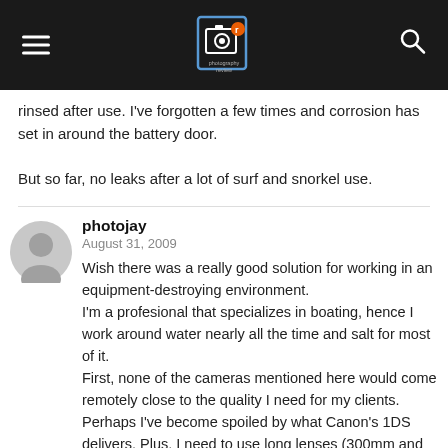Photography Review (logo)
rinsed after use. I've forgotten a few times and corrosion has set in around the battery door.

But so far, no leaks after a lot of surf and snorkel use.
photojay
August 31, 2009
Wish there was a really good solution for working in an equipment-destroying environment.
I'm a profesional that specializes in boating, hence I work around water nearly all the time and salt for most of it.
First, none of the cameras mentioned here would come remotely close to the quality I need for my clients. Perhaps I've become spoiled by what Canon's 1DS delivers. Plus, I need to use long lenses (300mm and up is pretty common) and relatively fast apertures and hand-hold all this to boot, so the use of protective housings is pretty much ruled out. And, nearly all your